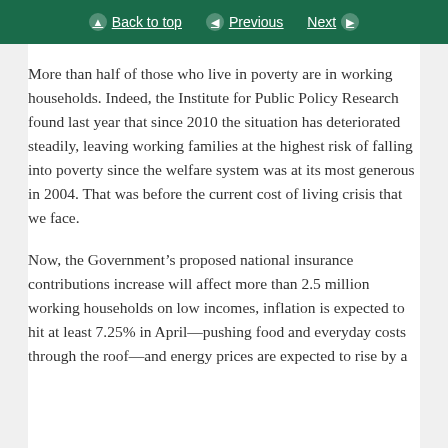Back to top | Previous | Next
More than half of those who live in poverty are in working households. Indeed, the Institute for Public Policy Research found last year that since 2010 the situation has deteriorated steadily, leaving working families at the highest risk of falling into poverty since the welfare system was at its most generous in 2004. That was before the current cost of living crisis that we face.
Now, the Government’s proposed national insurance contributions increase will affect more than 2.5 million working households on low incomes, inflation is expected to hit at least 7.25% in April—pushing food and everyday costs through the roof—and energy prices are expected to rise by a